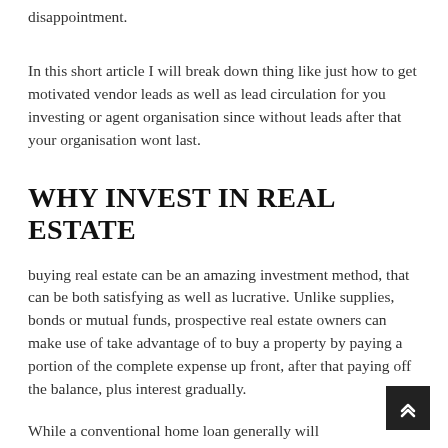disappointment.
In this short article I will break down thing like just how to get motivated vendor leads as well as lead circulation for you investing or agent organisation since without leads after that your organisation wont last.
WHY INVEST IN REAL ESTATE
buying real estate can be an amazing investment method, that can be both satisfying as well as lucrative. Unlike supplies, bonds or mutual funds, prospective real estate owners can make use of take advantage of to buy a property by paying a portion of the complete expense up front, after that paying off the balance, plus interest gradually.
While a conventional home loan generally will